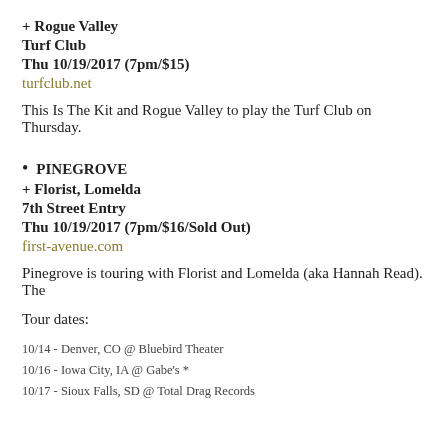+ Rogue Valley
Turf Club
Thu 10/19/2017 (7pm/$15)
turfclub.net
This Is The Kit and Rogue Valley to play the Turf Club on Thursday.
PINEGROVE
+ Florist, Lomelda
7th Street Entry
Thu 10/19/2017 (7pm/$16/Sold Out)
first-avenue.com
Pinegrove is touring with Florist and Lomelda (aka Hannah Read). The
Tour dates:
10/14 - Denver, CO @ Bluebird Theater
10/16 - Iowa City, IA @ Gabe's *
10/17 - Sioux Falls, SD @ Total Drag Records